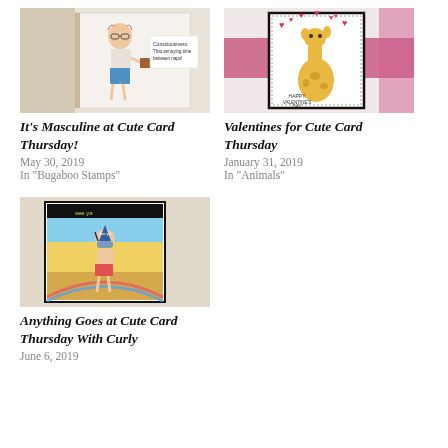[Figure (photo): Greeting card with illustrated old man in blue shorts holding a mug, text reads 'Consciousness: That annoying time between naps!']
It's Masculine at Cute Card Thursday!
May 30, 2019
In "Bugaboo Stamps"
[Figure (photo): Greeting card with illustrated giraffe surrounded by pink hearts, text reads 'Happy Valentine's Day']
Valentines for Cute Card Thursday
January 31, 2019
In "Animals"
[Figure (photo): Greeting card with illustrated boy with snorkel and glasses on beach with yellow and blue sky background, text reads 'see ya']
Anything Goes at Cute Card Thursday With Curly
June 6, 2019